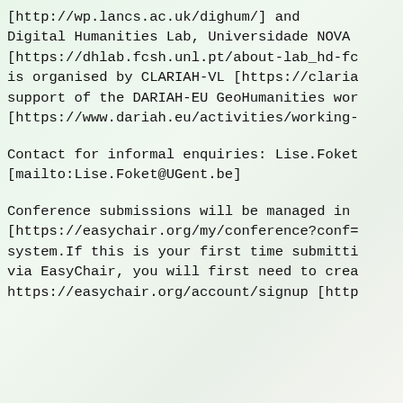[http://wp.lancs.ac.uk/dighum/] and Digital Humanities Lab, Universidade NOVA [https://dhlab.fcsh.unl.pt/about-lab_hd-fc is organised by CLARIAH-VL [https://claria support of the DARIAH-EU GeoHumanities wor [https://www.dariah.eu/activities/working-
Contact for informal enquiries: Lise.Foket [mailto:Lise.Foket@UGent.be]
Conference submissions will be managed in [https://easychair.org/my/conference?conf= system.If this is your first time submitti via EasyChair, you will first need to crea https://easychair.org/account/signup [http